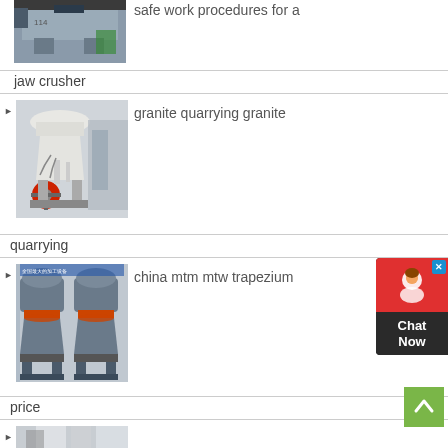[Figure (photo): Industrial jaw crusher machine in factory setting, partially visible at top of page]
jaw crusher
[Figure (photo): Cone crusher machine in white/red colors in industrial factory]
granite quarrying granite
quarrying
[Figure (photo): Two MTM/MTW trapezium grinding mills in gray/orange colors in factory]
china mtm mtw trapezium
price
[Figure (photo): Partial view of another industrial machine at bottom of page]